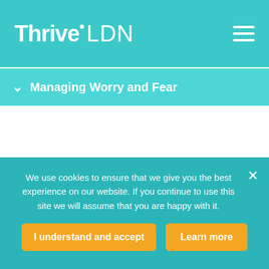Thrive LDN
Managing Worry and Fear
We use cookies to ensure that we give you the best experience on our website. If you continue to use this site we will assume that you are happy with it.
I understand and accept
Learn more